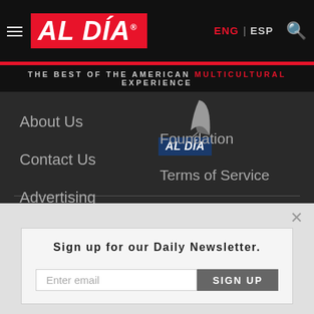[Figure (logo): AL DÍA news logo in white bold italic text on red background]
ENG | ESP
THE BEST OF THE AMERICAN MULTICULTURAL EXPERIENCE
About Us
Contact Us
Advertising
Work with Us
Share a News Tip
[Figure (logo): AL DÍA Foundation logo with quill icon above blue badge]
Foundation
Terms of Service
Privacy
Sign up for our Daily Newsletter.
Enter email
SIGN UP